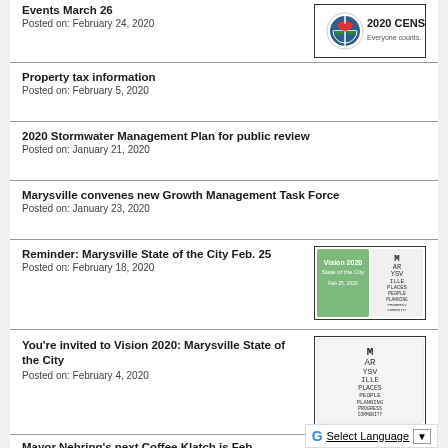Events March 26
Posted on: February 24, 2020
Property tax information
Posted on: February 5, 2020
2020 Stormwater Management Plan for public review
Posted on: January 21, 2020
Marysville convenes new Growth Management Task Force
Posted on: January 23, 2020
Reminder: Marysville State of the City Feb. 25
Posted on: February 18, 2020
You're invited to Vision 2020: Marysville State of the City
Posted on: February 4, 2020
Mayor Nehring's next Coffee Klatch is Feb…